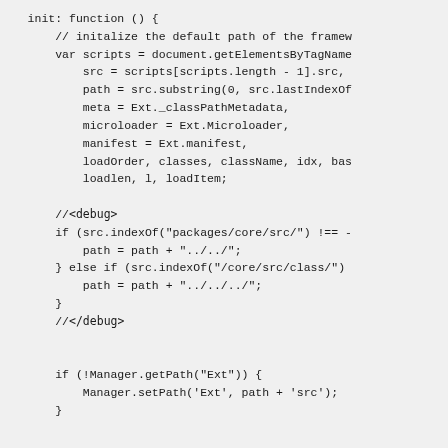init: function () {
    // initalize the default path of the framew
    var scripts = document.getElementsByTagName
        src = scripts[scripts.length - 1].src,
        path = src.substring(0, src.lastIndexOf
        meta = Ext._classPathMetadata,
        microloader = Ext.Microloader,
        manifest = Ext.manifest,
        loadOrder, classes, className, idx, bas
        loadlen, l, loadItem;

    //<debug>
    if (src.indexOf("packages/core/src/") !== -
        path = path + "../../";
    } else if (src.indexOf("/core/src/class/")
        path = path + "../../../";
    }
    //</debug>


    if (!Manager.getPath("Ext")) {
        Manager.setPath('Ext', path + 'src');
    }